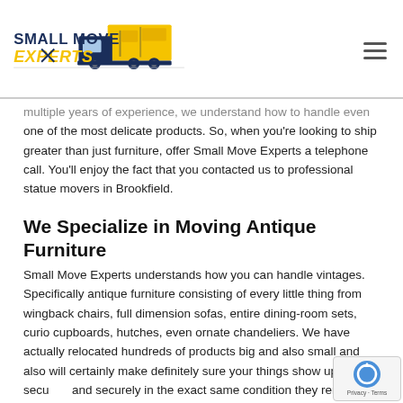[Figure (logo): Small Move Experts logo with a yellow and navy moving truck and stylized text]
multiple years of experience, we understand how to handle even one of the most delicate products. So, when you're looking to ship greater than just furniture, offer Small Move Experts a telephone call. You'll enjoy the fact that you contacted us to professional statue movers in Brookfield.
We Specialize in Moving Antique Furniture
Small Move Experts understands how you can handle vintages. Specifically antique furniture consisting of every little thing from wingback chairs, full dimension sofas, entire dining-room sets, curio cupboards, hutches, even ornate chandeliers. We have actually relocated hundreds of products big and also small and also will certainly make definitely sure your things show up securely and securely in the exact same condition they remained in when they left you. We can assist you to professional statue movers in